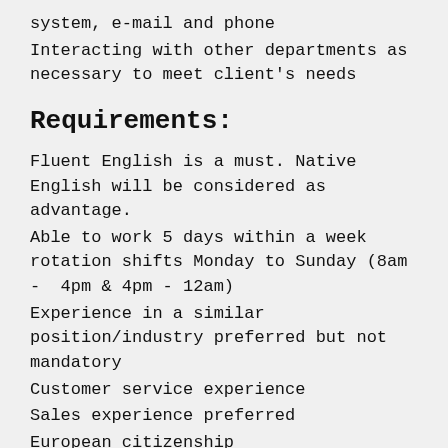system, e-mail and phone
Interacting with other departments as necessary to meet client's needs
Requirements:
Fluent English is a must. Native English will be considered as advantage.
Able to work 5 days within a week rotation shifts Monday to Sunday (8am -  4pm & 4pm - 12am)
Experience in a similar position/industry preferred but not mandatory
Customer service experience
Sales experience preferred
European citizenship
Remuneration & Benefits: